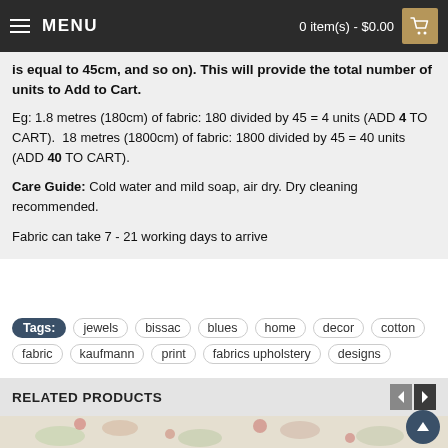MENU | 0 item(s) - $0.00
is equal to 45cm, and so on).  This will provide the total number of units to Add to Cart.
Eg: 1.8 metres (180cm) of fabric: 180 divided by 45 = 4 units (ADD 4 TO CART).  18 metres (1800cm) of fabric: 1800 divided by 45 = 40 units (ADD 40 TO CART).
Care Guide: Cold water and mild soap, air dry. Dry cleaning recommended.
Fabric can take 7 - 21 working days to arrive
Tags: jewels bissac blues home decor cotton fabric kaufmann print fabrics upholstery designs
RELATED PRODUCTS
[Figure (photo): Floral fabric pattern with botanical motifs in red, green, and cream colors]